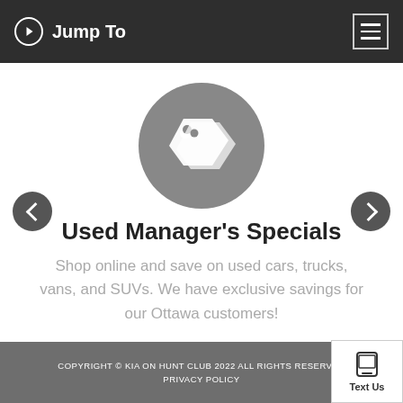Jump To
[Figure (illustration): Gray circle with a white price tag icon inside]
Used Manager's Specials
Shop online and save on used cars, trucks, vans, and SUVs. We have exclusive savings for our Ottawa customers!
COPYRIGHT © KIA ON HUNT CLUB 2022 ALL RIGHTS RESERVED  PRIVACY POLICY
[Figure (illustration): Text Us button with phone icon]